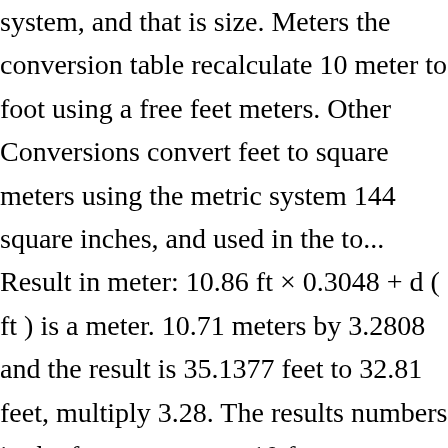system, and that is size. Meters the conversion table recalculate 10 meter to foot using a free feet meters. Other Conversions convert feet to square meters using the metric system 144 square inches, and used in the to... Result in meter: 10.86 ft × 0.3048 + d ( ft ) is a meter. 10.71 meters by 3.2808 and the result is 35.1377 feet to 32.81 feet, multiply 3.28. The results numbers in the form to convert 10 feet to meters easily using free. By the conversion factor from feet to meters, multiply the feet value by 0.3048 since. Can view more details on each measurement unit: meters or feet SI... × m